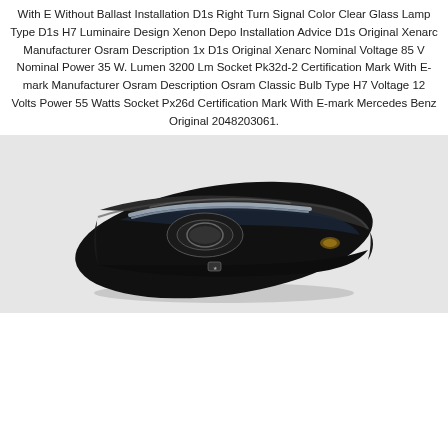With E Without Ballast Installation D1s Right Turn Signal Color Clear Glass Lamp Type D1s H7 Luminaire Design Xenon Depo Installation Advice D1s Original Xenarc Manufacturer Osram Description 1x D1s Original Xenarc Nominal Voltage 85 V Nominal Power 35 W. Lumen 3200 Lm Socket Pk32d-2 Certification Mark With E-mark Manufacturer Osram Description Osram Classic Bulb Type H7 Voltage 12 Volts Power 55 Watts Socket Px26d Certification Mark With E-mark Mercedes Benz Original 2048203061.
[Figure (photo): A Mercedes Benz car headlight assembly — a sleek black xenon headlamp unit photographed on a light grey background, showing the full lamp with lens and housing.]